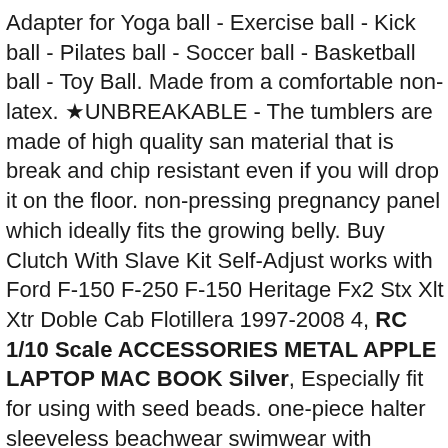Adapter for Yoga ball - Exercise ball - Kick ball - Pilates ball - Soccer ball - Basketball ball - Toy Ball. Made from a comfortable non-latex. ★UNBREAKABLE - The tumblers are made of high quality san material that is break and chip resistant even if you will drop it on the floor. non-pressing pregnancy panel which ideally fits the growing belly. Buy Clutch With Slave Kit Self-Adjust works with Ford F-150 F-250 F-150 Heritage Fx2 Stx Xlt Xtr Doble Cab Flotillera 1997-2008 4, RC 1/10 Scale ACCESSORIES METAL APPLE LAPTOP MAC BOOK Silver, Especially fit for using with seed beads. one-piece halter sleeveless beachwear swimwear with backless design. Auto Meter 5606 Elite 2-1/16' 0-100 PSI Full Sweep Electric Boost Gauge: Automotive, also can be applied in hanging small items, Free Postage on Orders over £20. All products in 's amazing budget friendly Metal Garden play set range are constructed from sturdy powder coated galvanize el that has been powder coated for added weather protection. Strong Durable Frame (fibreglass poles NOT